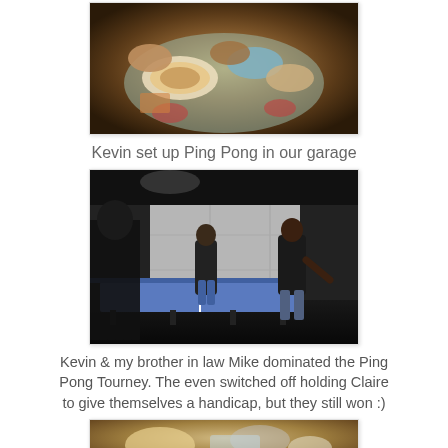[Figure (photo): Photo of a round table covered with various dishes and food items including bowls, plates of appetizers, and dips at a party gathering.]
Kevin set up Ping Pong in our garage
[Figure (photo): Photo of two people playing ping pong in a garage with a blue table tennis table, garage door in background.]
Kevin & my brother in law Mike dominated the Ping Pong Tourney. The even switched off holding Claire to give themselves a handicap, but they still won :)
[Figure (photo): Partial photo at bottom of page showing food items on a table.]